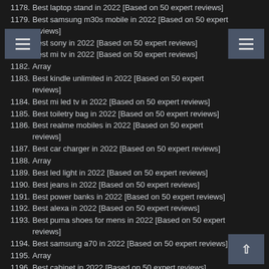1178. Best laptop stand in 2022 [Based on 50 expert reviews]
1179. Best samsung m30s mobile in 2022 [Based on 50 expert reviews]
1180. Best sony in 2022 [Based on 50 expert reviews]
1181. Best mi tv in 2022 [Based on 50 expert reviews]
1182. Array
1183. Best kindle unlimited in 2022 [Based on 50 expert reviews]
1184. Best mi led tv in 2022 [Based on 50 expert reviews]
1185. Best toiletry bag in 2022 [Based on 50 expert reviews]
1186. Best realme mobiles in 2022 [Based on 50 expert reviews]
1187. Best car charger in 2022 [Based on 50 expert reviews]
1188. Array
1189. Best led light in 2022 [Based on 50 expert reviews]
1190. Best jeans in 2022 [Based on 50 expert reviews]
1191. Best power banks in 2022 [Based on 50 expert reviews]
1192. Best alexa in 2022 [Based on 50 expert reviews]
1193. Best puma shoes for mens in 2022 [Based on 50 expert reviews]
1194. Best samsung a70 in 2022 [Based on 50 expert reviews]
1195. Array
1196. Best cabinet in 2022 [Based on 50 expert reviews]
1197. Best air purifier in 2022 [Based on 50 expert reviews]
1198. Best woodland in 2022 [Based on 50 expert reviews]
1199. Best vivo u10 in 2022 [Based on 50 expert reviews]
1200. Best a30 in 2022 [Based on 50 expert reviews]
1201. Best otg in 2022 [Based on 50 expert reviews]
1202. Best note 8 in 2022 [Based on 50 expert reviews]
1203. Array
1204. Best lipstick in 2022 [Based on 50 expert reviews]
1205. Best laptop bag for men in 2022 [Based on 50 expert